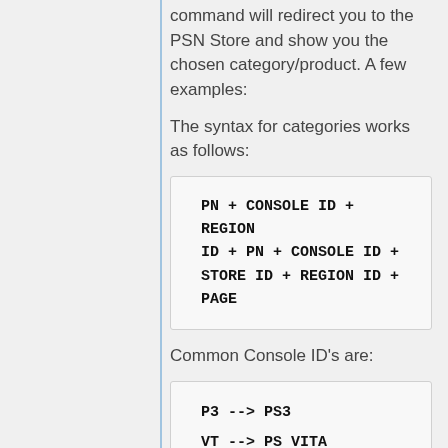command will redirect you to the PSN Store and show you the chosen category/product. A few examples:
The syntax for categories works as follows:
Common Console ID's are:
Common Store ID's are: